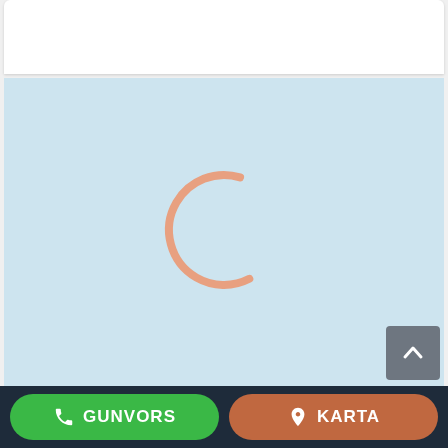[Figure (screenshot): White card area at top of mobile app screen]
[Figure (screenshot): Light blue content area with a loading spinner (orange arc circle) in the center, indicating content is being loaded]
[Figure (screenshot): Dark navy bottom navigation bar with two buttons: green 'GUNVORS' call button on left and brown/orange 'KARTA' map button on right. A grey scroll-to-top button appears above the bar on the right side.]